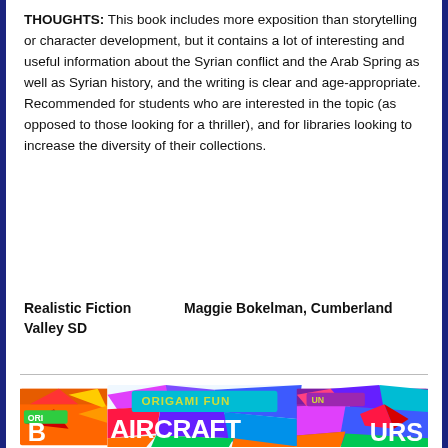THOUGHTS: This book includes more exposition than storytelling or character development, but it contains a lot of interesting and useful information about the Syrian conflict and the Arab Spring as well as Syrian history, and the writing is clear and age-appropriate. Recommended for students who are interested in the topic (as opposed to those looking for a thriller), and for libraries looking to increase the diversity of their collections.
Realistic Fiction    Maggie Bokelman, Cumberland Valley SD
[Figure (photo): Three colorful book covers from the 'Origami Fun' series, showing books titled 'Aircraft', 'B[irds]', and '[Dinos]urs' with bright geometric origami-style artwork]